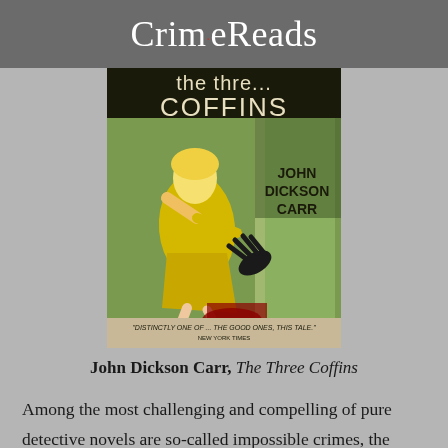CrimeReads
[Figure (photo): Book cover of 'The Three Coffins' by John Dickson Carr, showing a woman in a yellow dress recoiling from a doorway with a dark hand reaching out, pulp noir style illustration.]
John Dickson Carr, The Three Coffins
Among the most challenging and compelling of pure detective novels are so-called impossible crimes, the